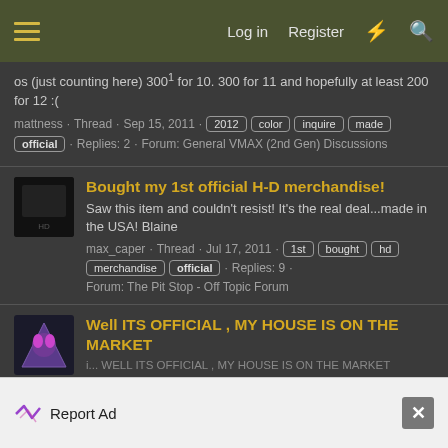Log in  Register
os (just counting here) 3001 for 10. 300 for 11 and hopefully at least 200 for 12 :(
mattness · Thread · Sep 15, 2011 · 2012  color  inquire  made  official · Replies: 2 · Forum: General VMAX (2nd Gen) Discussions
Bought my 1st official H-D merchandise!
Saw this item and couldn't resist! It's the real deal...made in the USA! Blaine
max_caper · Thread · Jul 17, 2011 · 1st  bought  hd  merchandise  official · Replies: 9 · Forum: The Pit Stop - Off Topic Forum
Well ITS OFFICIAL , MY HOUSE IS ON THE MARKET
i... WELL ITS OFFICIAL , MY HOUSE IS ON THE MARKET
Report Ad